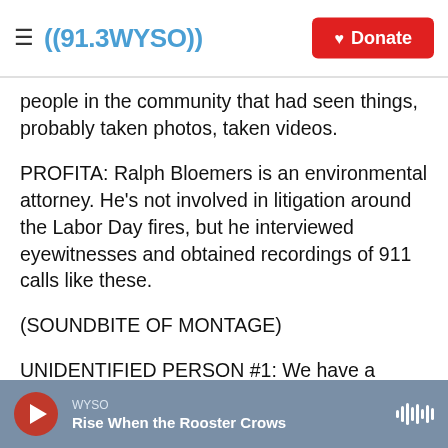((91.3 WYSO)) | Donate
people in the community that had seen things, probably taken photos, taken videos.
PROFITA: Ralph Bloemers is an environmental attorney. He's not involved in litigation around the Labor Day fires, but he interviewed eyewitnesses and obtained recordings of 911 calls like these.
(SOUNDBITE OF MONTAGE)
UNIDENTIFIED PERSON #1: We have a downed tree that took out power lines, and we have live lines on the ground, and we have a fire.
WYSO | Rise When the Rooster Crows